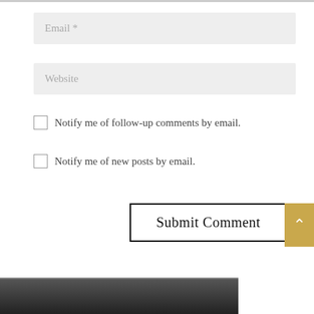Email *
Website
Notify me of follow-up comments by email.
Notify me of new posts by email.
Submit Comment